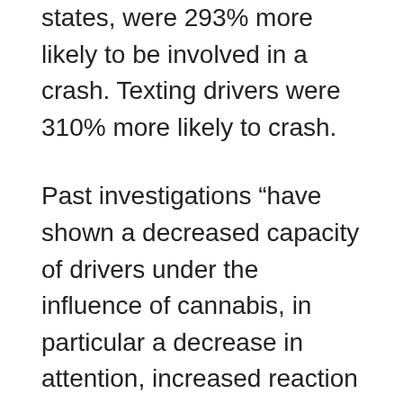alcohol level of 1.0‰, the legal limit in most states, were 293% more likely to be involved in a crash. Texting drivers were 310% more likely to crash.
Past investigations “have shown a decreased capacity of drivers under the influence of cannabis, in particular a decrease in attention, increased reaction time and reduced ability to control direction,” the French researchers noted. Drivers under the influence of alcohol “tend to drive faster, which goes hand in hand with an over-estimation of their own capacities,” the researchers added, “whereas drivers under the influence of cannabis tend to drive more